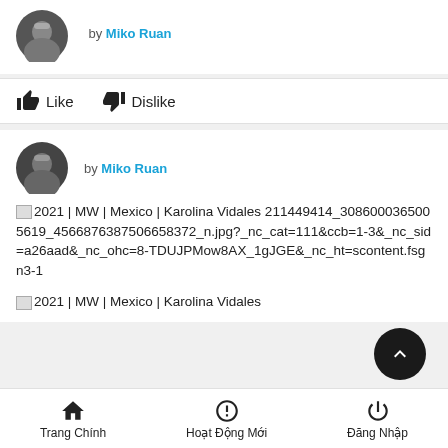[Figure (photo): Circular avatar photo of a person wearing a white collared outfit against dark background]
by Miko Ruan
Like   Dislike
[Figure (photo): Circular avatar photo of a person wearing a white collared outfit against dark background]
by Miko Ruan
2021 | MW | Mexico | Karolina Vidales 211449414_3086000365005619_4566876387506658372_n.jpg?_nc_cat=111&ccb=1-3&_nc_sid=a26aad&_nc_ohc=8-TDUJPMow8AX_1gJGE&_nc_ht=scontent.fsgn3-1
2021 | MW | Mexico | Karolina Vidales
Trang Chính   Hoạt Động Mới   Đăng Nhập